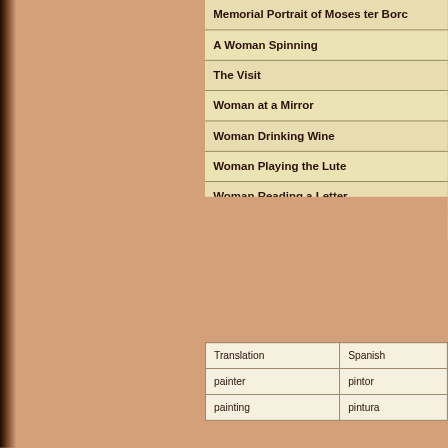Memorial Portrait of Moses ter Bor...
A Woman Spinning
The Visit
Woman at a Mirror
Woman Drinking Wine
Woman Playing the Lute
Woman Reading a Letter
Woman Washing Hands
| Translation | Spanish |
| --- | --- |
| painter | pintor |
| painting | pintura |